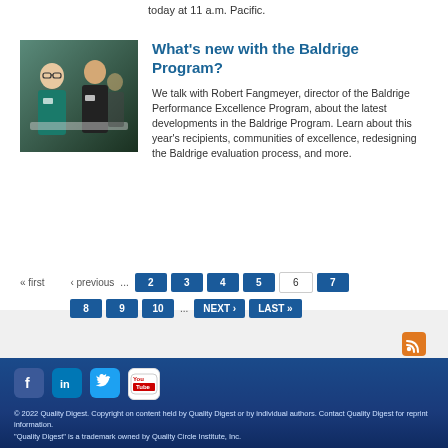today at 11 a.m. Pacific.
[Figure (photo): Two medical/healthcare workers in scrubs and badges with a patient]
What's new with the Baldrige Program?
We talk with Robert Fangmeyer, director of the Baldrige Performance Excellence Program, about the latest developments in the Baldrige Program. Learn about this year's recipients, communities of excellence, redesigning the Baldrige evaluation process, and more.
« first  ‹ previous  ...  2  3  4  5  [6]  7
8  9  10  ...  NEXT ›  LAST »
[Figure (logo): RSS feed icon (orange)]
[Figure (logo): Social media icons: Facebook, LinkedIn, Twitter, YouTube]
© 2022 Quality Digest. Copyright on content held by Quality Digest or by individual authors. Contact Quality Digest for reprint information. "Quality Digest" is a trademark owned by Quality Circle Institute, Inc.